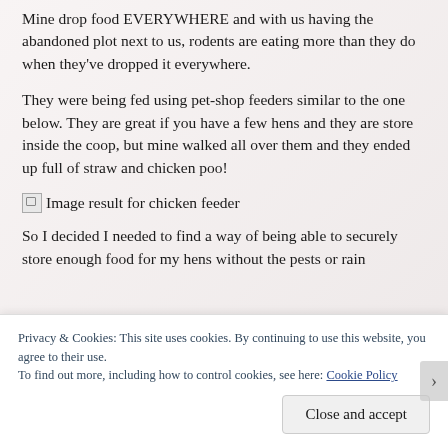Mine drop food EVERYWHERE and with us having the abandoned plot next to us, rodents are eating more than they do when they've dropped it everywhere.
They were being fed using pet-shop feeders similar to the one below. They are great if you have a few hens and they are store inside the coop, but mine walked all over them and they ended up full of straw and chicken poo!
[Figure (photo): Broken image placeholder with alt text: Image result for chicken feeder]
So I decided I needed to find a way of being able to securely store enough food for my hens without the pests or rain
Privacy & Cookies: This site uses cookies. By continuing to use this website, you agree to their use.
To find out more, including how to control cookies, see here: Cookie Policy